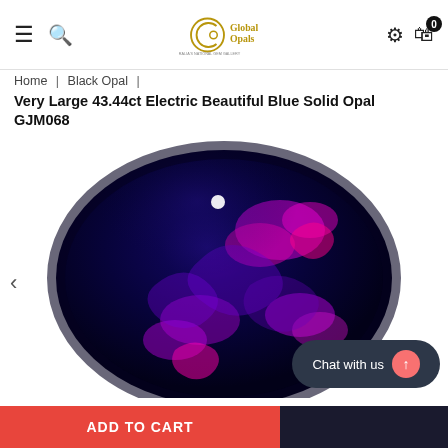Global Opals — navigation header with hamburger menu, search, logo, settings, and cart (0)
Home | Black Opal |
Very Large 43.44ct Electric Beautiful Blue Solid Opal GJM068
[Figure (photo): Close-up photograph of a large black opal gemstone showing deep blue base with electric purple and magenta iridescent color play patterns across its domed surface. A small white light reflection dot appears near the top.]
Chat with us